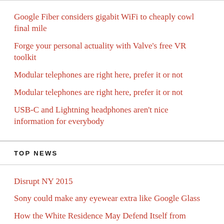Google Fiber considers gigabit WiFi to cheaply cowl final mile
Forge your personal actuality with Valve's free VR toolkit
Modular telephones are right here, prefer it or not
Modular telephones are right here, prefer it or not
USB-C and Lightning headphones aren't nice information for everybody
TOP NEWS
Disrupt NY 2015
Sony could make any eyewear extra like Google Glass
How the White Residence May Defend Itself from Drones
MIO Alpha watch goes on sale for $199, touts excessive-